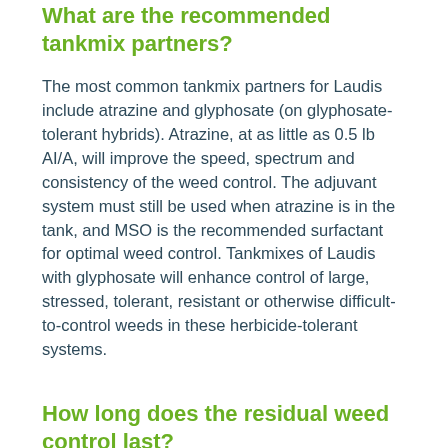What are the recommended tankmix partners?
The most common tankmix partners for Laudis include atrazine and glyphosate (on glyphosate-tolerant hybrids). Atrazine, at as little as 0.5 lb AI/A, will improve the speed, spectrum and consistency of the weed control. The adjuvant system must still be used when atrazine is in the tank, and MSO is the recommended surfactant for optimal weed control. Tankmixes of Laudis with glyphosate will enhance control of large, stressed, tolerant, resistant or otherwise difficult-to-control weeds in these herbicide-tolerant systems.
How long does the residual weed control last?
Laudis provides residual control of key grass and broadleaf weeds. Laudis residual depends on the